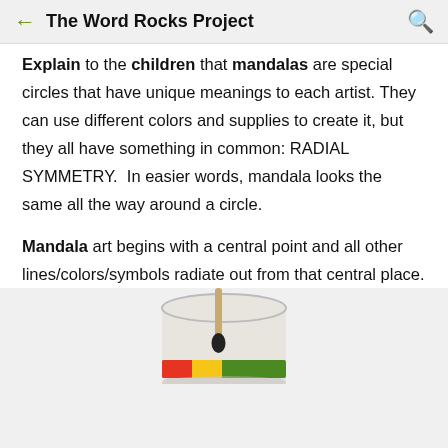The Word Rocks Project
Explain to the children that mandalas are special circles that have unique meanings to each artist. They can use different colors and supplies to create it, but they all have something in common: RADIAL SYMMETRY.  In easier words, mandala looks the same all the way around a circle.
Mandala art begins with a central point and all other lines/colors/symbols radiate out from that central place.
[Figure (photo): A jar with a paintbrush dipping into dark paint, with a colorful label at the bottom of the container.]